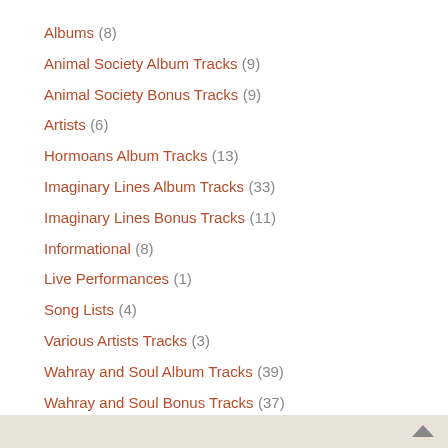Albums (8)
Animal Society Album Tracks (9)
Animal Society Bonus Tracks (9)
Artists (6)
Hormoans Album Tracks (13)
Imaginary Lines Album Tracks (33)
Imaginary Lines Bonus Tracks (11)
Informational (8)
Live Performances (1)
Song Lists (4)
Various Artists Tracks (3)
Wahray and Soul Album Tracks (39)
Wahray and Soul Bonus Tracks (37)
Web Log (11)